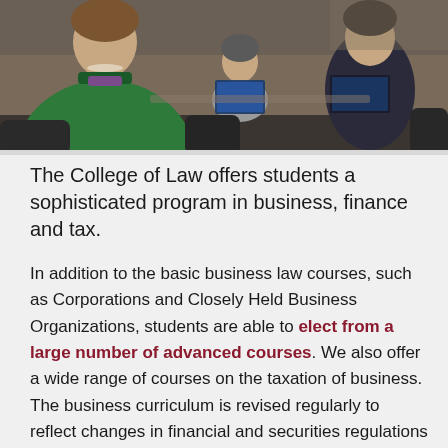[Figure (photo): Classroom scene viewed from behind students; a person in a green hoodie sits in the foreground left, others with laptops are visible in the background.]
The College of Law offers students a sophisticated program in business, finance and tax.
In addition to the basic business law courses, such as Corporations and Closely Held Business Organizations, students are able to elect from a large number of advanced courses. We also offer a wide range of courses on the taxation of business. The business curriculum is revised regularly to reflect changes in financial and securities regulations and in the ways in which companies raise capital and deal with market risks.